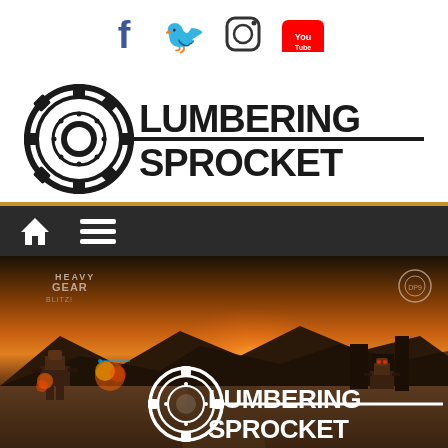[Figure (logo): Social media icons: Facebook (blue), Twitter (blue), Instagram (black outline), YouTube (red/white)]
[Figure (logo): Lumbering Sprocket logo — gear icon with 'LUMBERING SPROCKET' text in bold industrial font, black on white]
[Figure (infographic): Dark navigation bar with gold top border, home icon and hamburger menu icon in white]
[Figure (photo): Heavy Gear Blitz promotional image showing mechs in a desert battlefield at sunset, overlaid with Lumbering Sprocket logo (white) and subtitle 'Getting Started with Heavy Gear: Blitz' in italic white text]